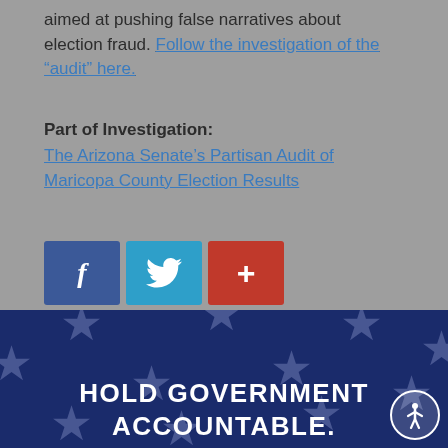aimed at pushing false narratives about election fraud. Follow the investigation of the “audit” here.
Part of Investigation:
The Arizona Senate’s Partisan Audit of Maricopa County Election Results
[Figure (infographic): Social media share buttons: Facebook (blue), Twitter (teal), and a red plus/share button]
[Figure (infographic): Dark blue banner with star pattern background and bold white text reading HOLD GOVERNMENT ACCOUNTABLE. with accessibility icon in bottom right corner]